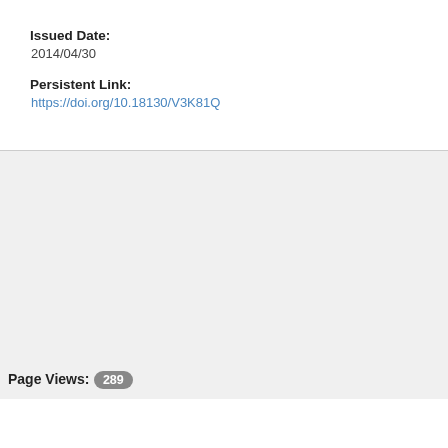Issued Date:
2014/04/30
Persistent Link:
https://doi.org/10.18130/V3K81Q
Page Views: 289